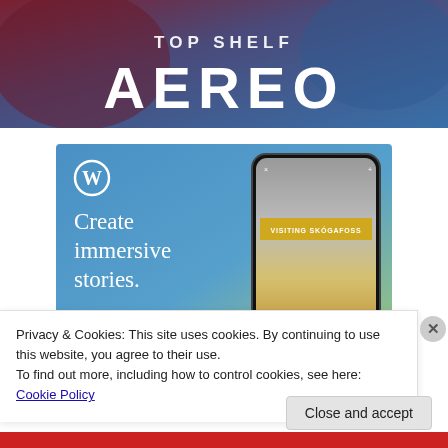[Figure (illustration): Top banner advertisement reading 'TOP SHELF AEREO' in white text on a dark red/blue gradient background]
[Figure (illustration): WordPress advertisement with blue/green gradient background, WordPress logo, text 'Create immersive stories.' and a phone mockup showing 'VISITING SKÓGAFOSS']
Privacy & Cookies: This site uses cookies. By continuing to use this website, you agree to their use.
To find out more, including how to control cookies, see here: Cookie Policy
Close and accept